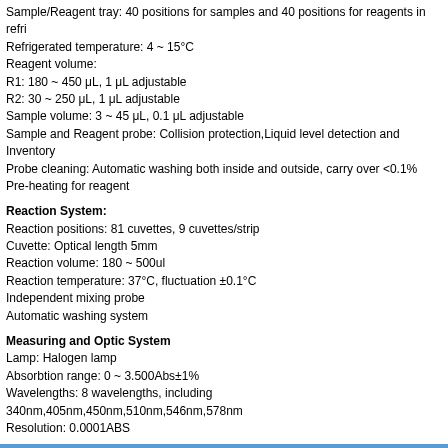Sample/Reagent tray: 40 positions for samples and 40 positions for reagents in refri
Refrigerated temperature: 4 ~ 15°C
Reagent volume:
R1: 180 ~ 450 μL, 1 μL adjustable
R2: 30 ~ 250 μL, 1 μL adjustable
Sample volume: 3 ~ 45 μL, 0.1 μL adjustable
Sample and Reagent probe: Collision protection,Liquid level detection and Inventory
Probe cleaning: Automatic washing both inside and outside, carry over <0.1%
Pre-heating for reagent
Reaction System:
Reaction positions: 81 cuvettes, 9 cuvettes/strip
Cuvette: Optical length 5mm
Reaction volume: 180 ~ 500ul
Reaction temperature: 37°C, fluctuation ±0.1°C
Independent mixing probe
Automatic washing system
Measuring and Optic System
Lamp: Halogen lamp
Absorbtion range: 0 ~ 3.500Abs±1%
Wavelengths: 8 wavelengths, including 340nm,405nm,450nm,510nm,546nm,578nm
Resolution: 0.0001ABS
Working Condition
Power supply: 220 V AC 50/60 Hz
Temperature: 20 ~ 30°C
Humidity: 35 ~ 80%
Water consumption: 2.5~10 L/hour,
Dimention: 800cm(L)*600cm(W)*650cm(H)
Gross weight: Bench top: 100KG